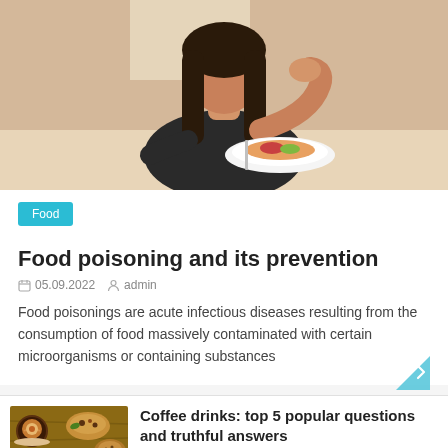[Figure (photo): Woman sitting at restaurant table with a plate of food, covering her mouth with her hand, looking unwell]
Food
Food poisoning and its prevention
05.09.2022  admin
Food poisonings are acute infectious diseases resulting from the consumption of food massively contaminated with certain microorganisms or containing substances
[Figure (photo): Various coffee drinks and pastries arranged on a wooden table, viewed from above]
Coffee drinks: top 5 popular questions and truthful answers
29.09.2022